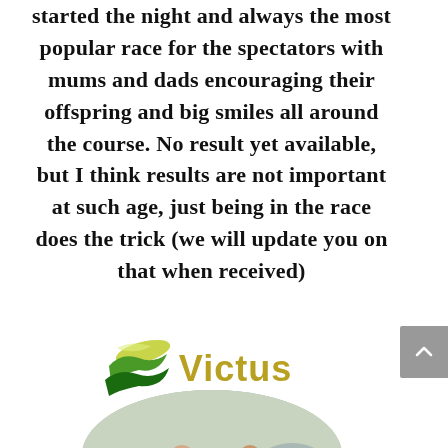started the night and always the most popular race for the spectators with mums and dads encouraging their offspring and big smiles all around the course. No result yet available, but I think results are not important at such age, just being in the race does the trick (we will update you on that when received)
[Figure (logo): Victus logo: green wave/leaf swoosh icon on the left with the word 'Victus' in olive/gold bold text on the right]
[Figure (photo): Oval-cropped photo of young children racing on bicycles, wearing helmets (red and yellow), in what appears to be an outdoor cycling event]